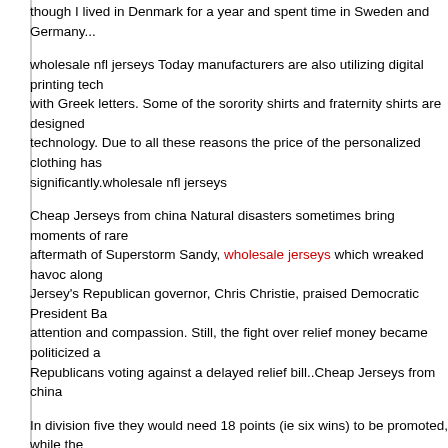though I lived in Denmark for a year and spent time in Sweden and Germany...
wholesale nfl jerseys Today manufacturers are also utilizing digital printing technology with Greek letters. Some of the sorority shirts and fraternity shirts are designed with this technology. Due to all these reasons the price of the personalized clothing has decreased significantly.wholesale nfl jerseys
Cheap Jerseys from china Natural disasters sometimes bring moments of rare aftermath of Superstorm Sandy, wholesale jerseys which wreaked havoc along Jersey's Republican governor, Chris Christie, praised Democratic President Barack Obama's attention and compassion. Still, the fight over relief money became politicized a Republicans voting against a delayed relief bill..Cheap Jerseys from china
In division five they would need 18 points (ie six wins) to be promoted, while the division one. So far so confusing To further complicate matters there would be the teams they chose to play would not be competing for points, only for the glory and being watched on YouTube. In other words,Carl Banks Authentic Jerseythe their own going up and down imaginary divisions depending on their results.
Cheap Jerseys free shipping A question at the barber shop: Can
[Figure (photo): Broken/unloaded image placeholder (small image icon in top-left corner of bordered box)]